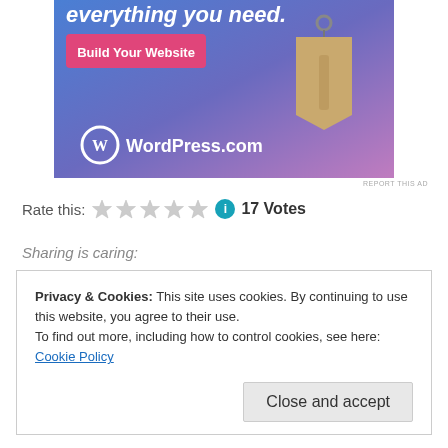[Figure (screenshot): WordPress.com advertisement banner with blue-to-purple gradient background, showing text 'everything you need.', a pink 'Build Your Website' button, a hanging price tag illustration, and the WordPress.com logo at the bottom.]
REPORT THIS AD
Rate this: ★★★★★ ℹ 17 Votes
Sharing is caring:
Privacy & Cookies: This site uses cookies. By continuing to use this website, you agree to their use.
To find out more, including how to control cookies, see here: Cookie Policy
Close and accept